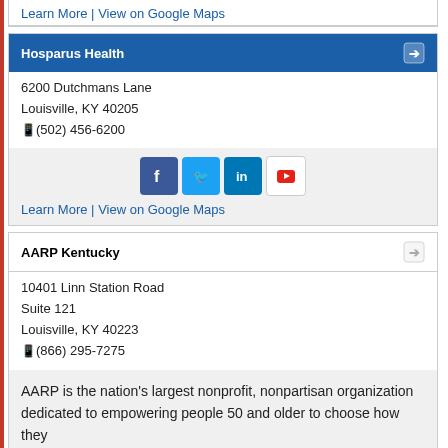Learn More | View on Google Maps
Hosparus Health
6200 Dutchmans Lane
Louisville, KY 40205
(502) 456-6200
[Figure (infographic): Social media icons: Facebook, Twitter, LinkedIn, YouTube]
Learn More | View on Google Maps
AARP Kentucky
10401 Linn Station Road
Suite 121
Louisville, KY 40223
(866) 295-7275
AARP is the nation's largest nonprofit, nonpartisan organization dedicated to empowering people 50 and older to choose how they